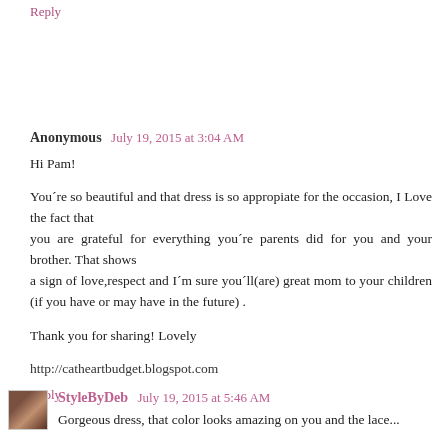Reply
Anonymous  July 19, 2015 at 3:04 AM
Hi Pam!

You´re so beautiful and that dress is so appropiate for the occasion, I Love the fact that you are grateful for everything you´re parents did for you and your brother. That shows a sign of love,respect and I´m sure you´ll(are) great mom to your children (if you have or may have in the future) .

Thank you for sharing! Lovely

http://catheartbudget.blogspot.com
Reply
StyleByDeb  July 19, 2015 at 5:46 AM
Gorgeous dress, that color looks amazing on you and the lace...